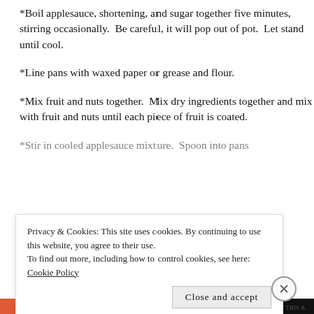*Boil applesauce, shortening, and sugar together five minutes, stirring occasionally.  Be careful, it will pop out of pot.  Let stand until cool.
*Line pans with waxed paper or grease and flour.
*Mix fruit and nuts together.  Mix dry ingredients together and mix with fruit and nuts until each piece of fruit is coated.
*Stir in cooled applesauce mixture.  Spoon into pans
Privacy & Cookies: This site uses cookies. By continuing to use this website, you agree to their use.
To find out more, including how to control cookies, see here: Cookie Policy